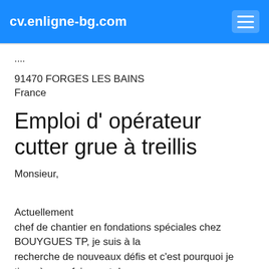cv.enligne-bg.com
....
91470 FORGES LES BAINS
France
Emploi d' opérateur cutter grue à treillis
Monsieur,
Actuellement
chef de chantier en fondations spéciales chez BOUYGUES TP, je suis à la
recherche de nouveaux défis et c'est pourquoi je tiens à vous faire part de mon